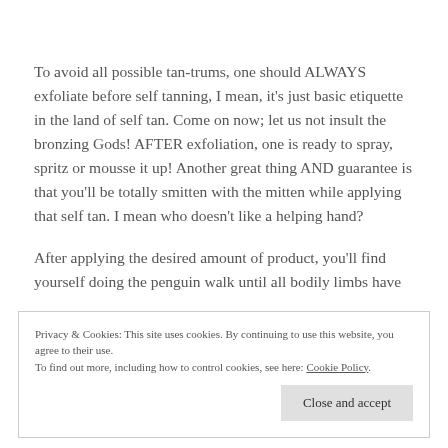To avoid all possible tan-trums, one should ALWAYS exfoliate before self tanning, I mean, it's just basic etiquette in the land of self tan. Come on now; let us not insult the bronzing Gods! AFTER exfoliation, one is ready to spray, spritz or mousse it up! Another great thing AND guarantee is that you'll be totally smitten with the mitten while applying that self tan. I mean who doesn't like a helping hand?
After applying the desired amount of product, you'll find yourself doing the penguin walk until all bodily limbs have
Privacy & Cookies: This site uses cookies. By continuing to use this website, you agree to their use.
To find out more, including how to control cookies, see here: Cookie Policy